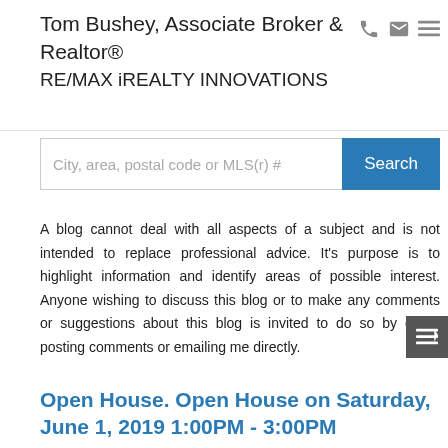Tom Bushey, Associate Broker & Realtor®
RE/MAX iREALTY INNOVATIONS
A blog cannot deal with all aspects of a subject and is not intended to replace professional advice. It's purpose is to highlight information and identify areas of possible interest. Anyone wishing to discuss this blog or to make any comments or suggestions about this blog is invited to do so by either posting comments or emailing me directly.
Open House. Open House on Saturday, June 1, 2019 1:00PM - 3:00PM